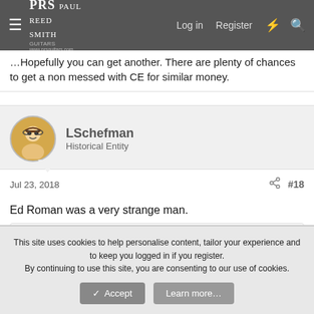PRS Paul Reed Smith Guitars — Log in | Register
Hopefully you can get another. There are plenty of chances to get a non messed with CE for similar money.
LSchefman
Historical Entity
Jul 23, 2018  #18
Ed Roman was a very strange man.
CatStrangler, JJJ, dogrocketp and 3 others
ViperDoc
Plugged In.
This site uses cookies to help personalise content, tailor your experience and to keep you logged in if you register.
By continuing to use this site, you are consenting to our use of cookies.